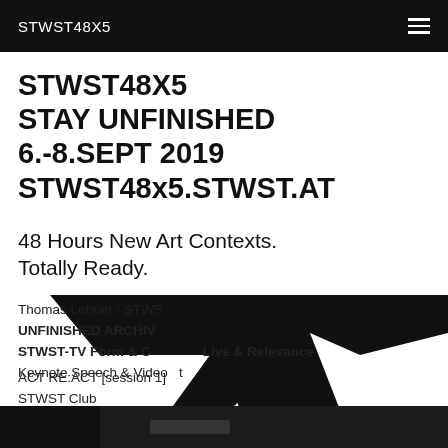STWST48X5
STWST48X5
STAY UNFINISHED
6.-8.SEPT 2019
STWSTx5.STWST.AT
48 Hours New Art Contexts.
Totally Ready.
Thomas Lehner / STWS
UNFINISHED ARCHIV
STWST-TV Form & C     Live & Relevance
Keynote Speech & Video   t
ACT RE:ACT [session 1]
STWST Club
Saturday Night
19:32 - 21:00 (88min
[Figure (photo): Dark silhouette figure against black background, stylized angular shape. Bottom strip shows dark photographic image.]